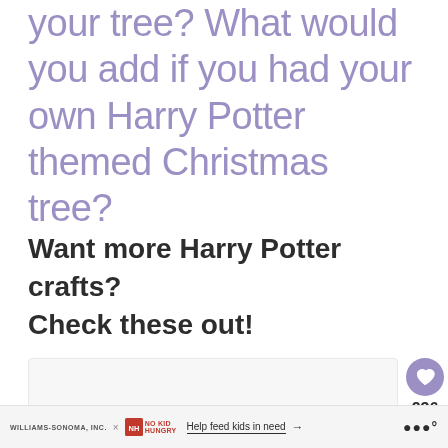your tree? What would you add if you had your own Harry Potter themed Christmas tree?
Want more Harry Potter crafts? Check these out!
[Figure (other): Partial image placeholder area (bottom of a content card), light gray background]
WILLIAMS-SONOMA, INC. × NO KID HUNGRY  Help feed kids in need →  ●●●°